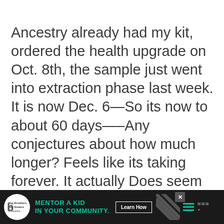Ancestry already had my kit, ordered the health upgrade on Oct. 8th, the sample just went into extraction phase last week. It is now Dec. 6—So its now to about 60 days—–Any conjectures about how much longer? Feels like its taking forever. It actually Does seem long compared to some of these other timelines—–any thoughts? Thanks.
[Figure (other): Advertisement banner for Big Brothers Big Sisters: 'MENTOR A KID IN YOUR COMMUNITY.' with a Learn How button, diagonal stripe pattern, hamburger menu icon, and weather icon on black background.]